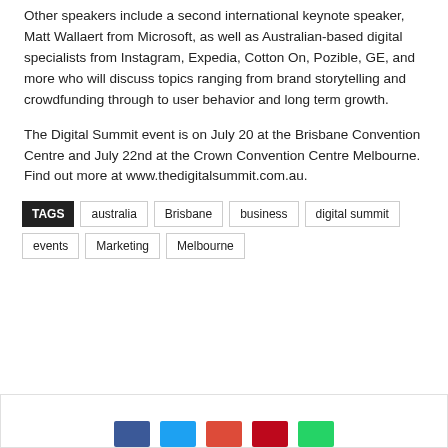Other speakers include a second international keynote speaker, Matt Wallaert from Microsoft, as well as Australian-based digital specialists from Instagram, Expedia, Cotton On, Pozible, GE, and more who will discuss topics ranging from brand storytelling and crowdfunding through to user behavior and long term growth.
The Digital Summit event is on July 20 at the Brisbane Convention Centre and July 22nd at the Crown Convention Centre Melbourne. Find out more at www.thedigitalsummit.com.au.
TAGS australia Brisbane business digital summit events Marketing Melbourne
[Figure (other): Social sharing buttons: Facebook (blue), Twitter (light blue), Google+ (red), Pinterest (dark red), WhatsApp (green)]